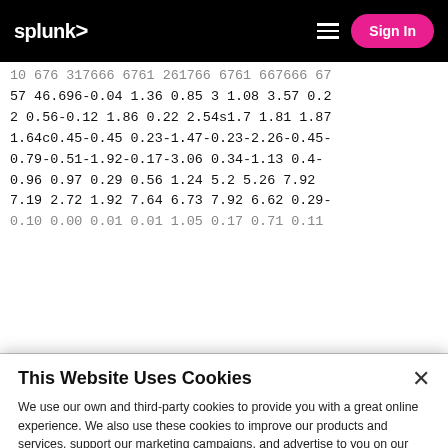splunk> | Sign In
10 676 317666 6761 261766 6761 667666 67
57 46.696-0.04 1.36 0.85 3 1.08 3.57 0.2
2 0.56-0.12 1.86 0.22 2.54s1.7 1.81 1.87
1.64c0.45-0.45 0.23-1.47-0.23-2.26-0.45-
0.79-0.51-1.92-0.17-3.06 0.34-1.13 0.4-
0.96 0.97 0.29 0.56 1.24 5.2 5.26 7.92
7.19 2.72 1.92 7.64 6.73 7.92 6.62 0.29-
0.10 0.00 0.01 0.01 1.05 0.17 0.71 0.11
This Website Uses Cookies
We use our own and third-party cookies to provide you with a great online experience. We also use these cookies to improve our products and services, support our marketing campaigns, and advertise to you on our website and other websites. Some cookies may continue to collect information after you have left our website. Learn more here ›
Accept Cookies
Cookies Settings ›